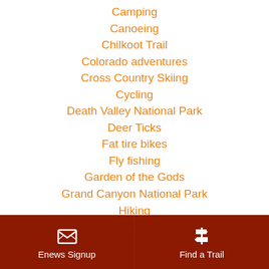Camping
Canoeing
Chilkoot Trail
Colorado adventures
Cross Country Skiing
Cycling
Death Valley National Park
Deer Ticks
Fat tire bikes
Fly fishing
Garden of the Gods
Grand Canyon National Park
Hiking
[Figure (illustration): Dark red footer bar with two sections: left has envelope/newsletter icon and 'Enews Signup' text, right has trail sign icon and 'Find a Trail' text]